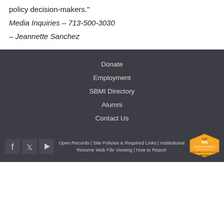policy decision-makers."
Media Inquiries – 713-500-3030
– Jeannette Sanchez
Donate
Employment
SBMI Directory
Alumni
Contact Us
Open Records | Site Policies & Required Links | Institutional Resume Web File Viewing | How to Report